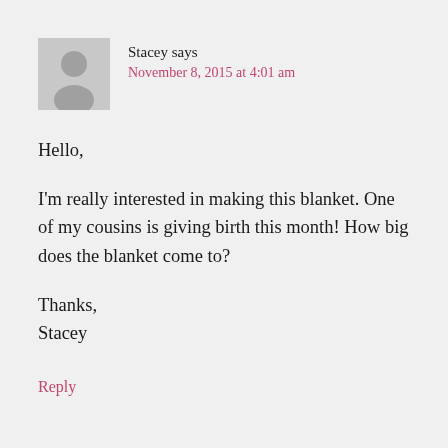Stacey says
November 8, 2015 at 4:01 am
Hello,

I'm really interested in making this blanket. One of my cousins is giving birth this month! How big does the blanket come to?

Thanks,
Stacey
Reply